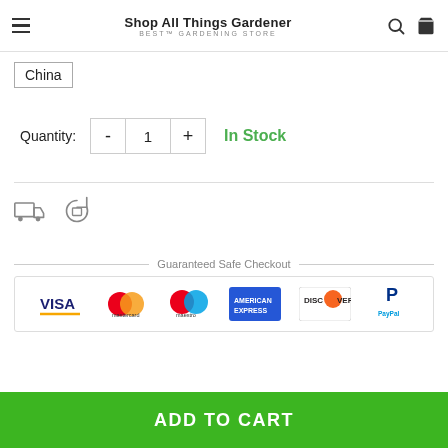Shop All Things Gardener — BEST GARDENING STORE
China
Quantity: 1  In Stock
[Figure (infographic): Shipping truck icon and return/refresh icon]
Guaranteed Safe Checkout
[Figure (infographic): Payment method logos: Visa, Mastercard, Maestro, American Express, Discover, PayPal]
ADD TO CART